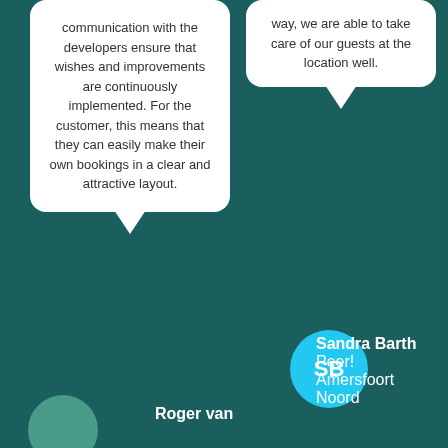communication with the developers ensure that wishes and improvements are continuously implemented. For the customer, this means that they can easily make their own bookings in a clear and attractive layout.
way, we are able to take care of our guests at the location well.
Sandra Barth
Peer! Amersfoort Noord
Roger van